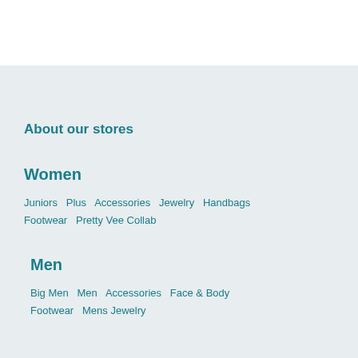About our stores
Women
Juniors  Plus  Accessories  Jewelry  Handbags  Footwear  Pretty Vee Collab
Men
Big Men  Men  Accessories  Face & Body  Footwear  Mens Jewelry